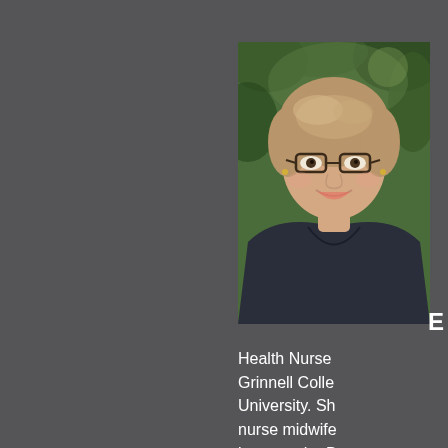[Figure (photo): Headshot of a woman with short blonde hair wearing glasses and a dark V-neck top, photographed outdoors with green background]
E
Health Nurse... Grinnell Colle... University. Sh... nurse midwife... became the D... accredited bi... and compreh...
As always, ... have a raffl...